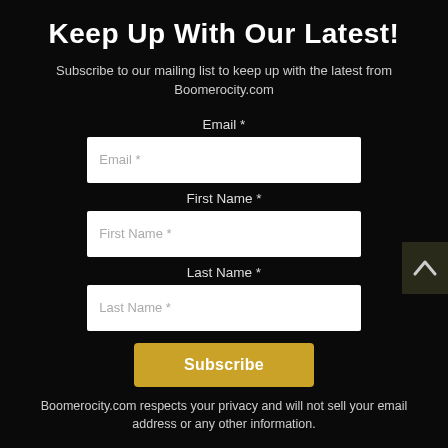Keep Up With Our Latest!
Subscribe to our mailing list to keep up with the latest from Boomerocity.com
Email *
First Name *
Last Name *
Subscribe
Boomerocity.com respects your privacy and will not sell your email address or any other information.